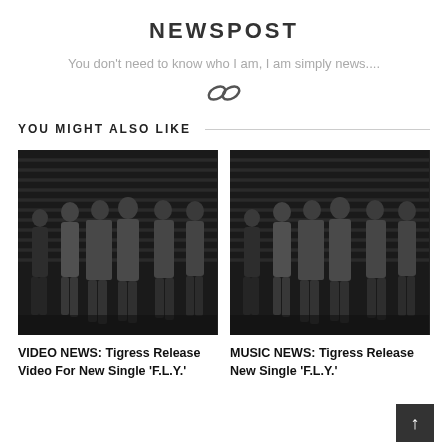NEWSPOST
You don't need to know who I am, I am simply news....
YOU MIGHT ALSO LIKE
[Figure (photo): Black and white photo of six young people standing in front of a metal shutter door]
[Figure (photo): Black and white photo of six young people standing in front of a metal shutter door (same group, slightly different crop)]
VIDEO NEWS: Tigress Release Video For New Single 'F.L.Y.'
MUSIC NEWS: Tigress Release New Single 'F.L.Y.'